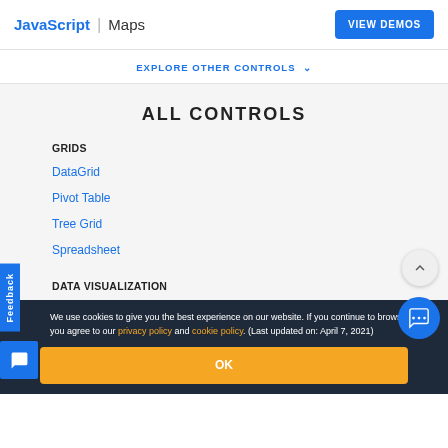JavaScript | Maps
EXPLORE OTHER CONTROLS ˅
ALL CONTROLS
GRIDS
DataGrid
Pivot Table
Tree Grid
Spreadsheet
DATA VISUALIZATION
We use cookies to give you the best experience on our website. If you continue to browse, then you agree to our privacy policy and cookie policy. (Last updated on: April 7, 2021)
OK